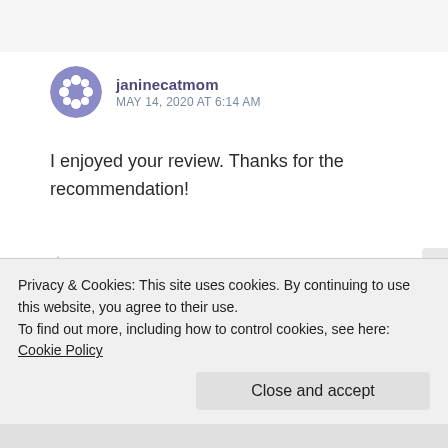janinecatmom
MAY 14, 2020 AT 6:14 AM
I enjoyed your review. Thanks for the recommendation!
★ Liked by 1 person
LOG IN TO REPLY
Maida Malby
Privacy & Cookies: This site uses cookies. By continuing to use this website, you agree to their use.
To find out more, including how to control cookies, see here: Cookie Policy